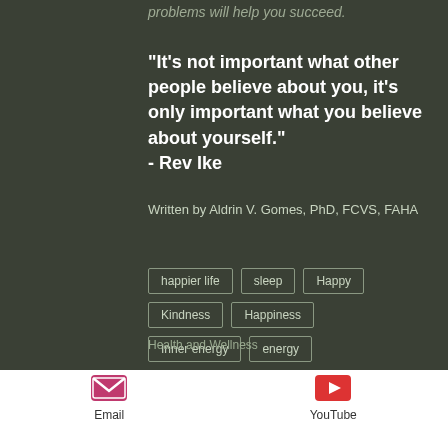problems will help you succeed.
“It’s not important what other people believe about you, it’s only important what you believe about yourself.”
- Rev Ike
Written by Aldrin V. Gomes, PhD, FCVS, FAHA
happier life
sleep
Happy
Kindness
Happiness
Inner energy
energy
Health and Wellness
[Figure (illustration): Email icon (envelope in magenta/pink square)]
Email
[Figure (illustration): YouTube icon (play button in red square)]
YouTube